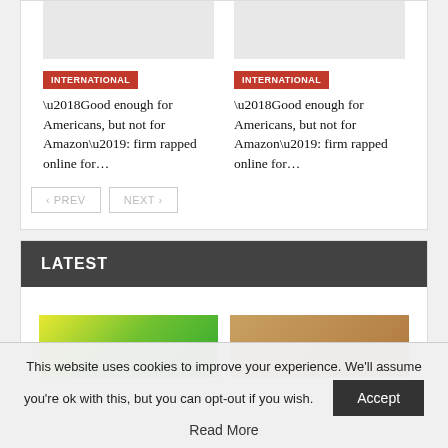[Figure (photo): Gray placeholder image for article thumbnail left]
INTERNATIONAL
‘Good enough for Americans, but not for Amazon’: firm rapped online for…
[Figure (photo): Gray placeholder image for article thumbnail right]
INTERNATIONAL
‘Good enough for Americans, but not for Amazon’: firm rapped online for…
PREV   NEXT
LATEST
[Figure (photo): Colorful image on left in LATEST section]
[Figure (photo): Portrait photo of man on right in LATEST section]
This website uses cookies to improve your experience. We'll assume you're ok with this, but you can opt-out if you wish.
Accept
Read More